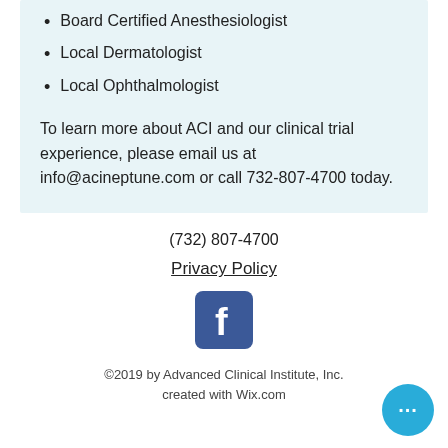Board Certified Anesthesiologist
Local Dermatologist
Local Ophthalmologist
To learn more about ACI and our clinical trial experience, please email us at info@acineptune.com or call 732-807-4700 today.
(732) 807-4700
Privacy Policy
[Figure (logo): Facebook logo icon — white 'f' on blue rounded square background]
©2019 by Advanced Clinical Institute, Inc. created with Wix.com